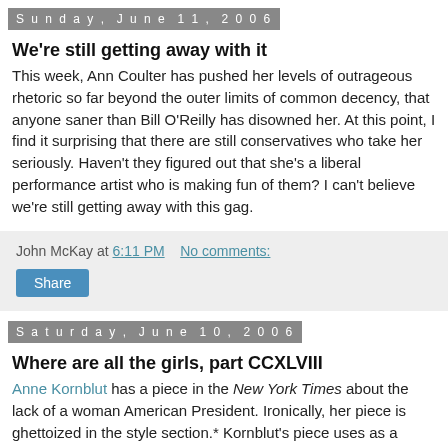Sunday, June 11, 2006
We're still getting away with it
This week, Ann Coulter has pushed her levels of outrageous rhetoric so far beyond the outer limits of common decency, that anyone saner than Bill O'Reilly has disowned her. At this point, I find it surprising that there are still conservatives who take her seriously. Haven't they figured out that she's a liberal performance artist who is making fun of them? I can't believe we're still getting away with this gag.
John McKay at 6:11 PM   No comments:
Share
Saturday, June 10, 2006
Where are all the girls, part CCXLVIII
Anne Kornblut has a piece in the New York Times about the lack of a woman American President. Ironically, her piece is ghettoized in the style section.* Kornblut's piece uses as a